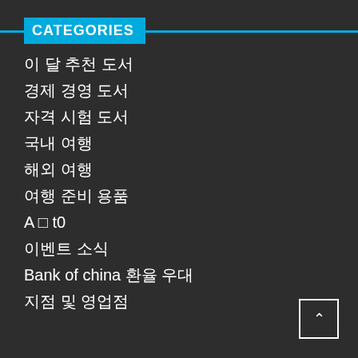CATEGORIES
이 달 추천 도서
경제 경영 도서
자격 시험 도서
국내 여행
해외 여행
여행 준비 용품
A 부 t0
이벤트 소식
Bank of china 환율 우대
지점 및 영업점